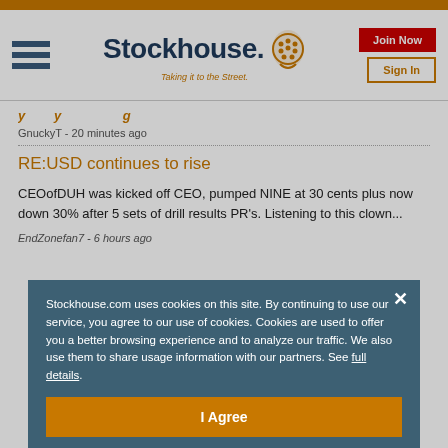Stockhouse - Taking it to the Street.
GnuckyT - 20 minutes ago
RE:USD continues to rise
CEOofDUH was kicked off CEO, pumped NINE at 30 cents plus now down 30% after 5 sets of drill results PR's. Listening to this clown...
Stockhouse.com uses cookies on this site. By continuing to use our service, you agree to our use of cookies. Cookies are used to offer you a better browsing experience and to analyze our traffic. We also use them to share usage information with our partners. See full details.